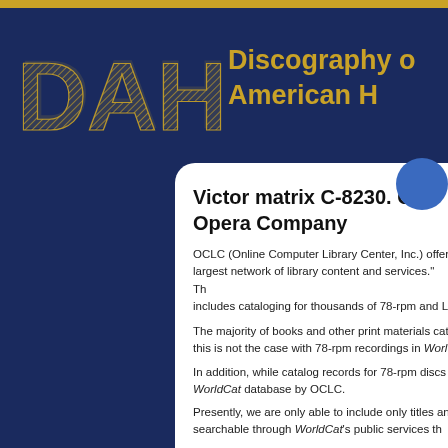[Figure (logo): DAHR logo with stylized letters in gold on dark blue background, with text Discography of American Historical Recordings]
Victor matrix C-8230. Grand Opera Company
OCLC (Online Computer Library Center, Inc.) offers the world's largest network of library content and services. Th... includes cataloging for thousands of 78-rpm and L...
The majority of books and other print materials cat... this is not the case with 78-rpm recordings in Worl...
In addition, while catalog records for 78-rpm discs ... WorldCat database by OCLC.
Presently, we are only able to include only titles an... searchable through WorldCat's public services th...